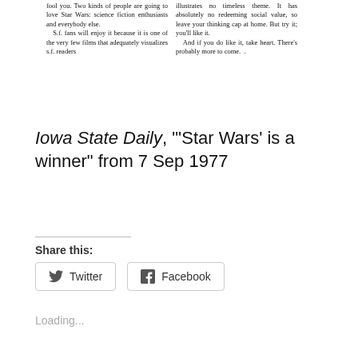[Figure (screenshot): Newspaper clipping with two-column text about Star Wars. Left column: 'fool you. Two kinds of people are going to love Star Wars: science fiction enthusiasts and everybody else. S.f. fans will enjoy it because it is one of the very few films that adequately visualizes s.f. readers'. Right column: 'illustrates no timeless theme. It has absolutely no redeeming social value, so leave your thinking cap at home. But try it; you'll like it. And if you do like it, take heart. There's probably more to come.']
Iowa State Daily, "'Star Wars' is a winner" from 7 Sep 1977
Share this:
Twitter
Facebook
Loading...
Related
1970: Iowa State protests after Kent State shootings
8 May 2020
In "Administration"
1918: WWI ends — front pages of Ames, Des Moines newspapers
11 November 2021